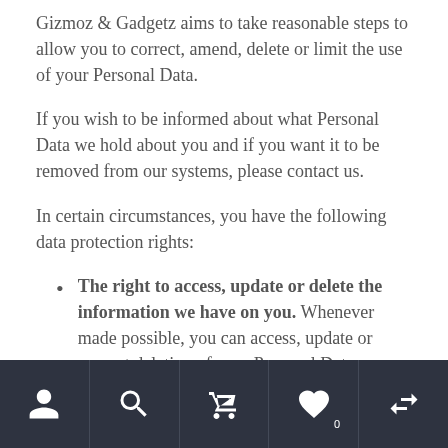Gizmoz & Gadgetz aims to take reasonable steps to allow you to correct, amend, delete or limit the use of your Personal Data.
If you wish to be informed about what Personal Data we hold about you and if you want it to be removed from our systems, please contact us.
In certain circumstances, you have the following data protection rights:
The right to access, update or delete the information we have on you. Whenever made possible, you can access, update or request deletion of your Personal Data directly within yo ur
[navigation bar with icons: user, search, cart, heart, compare]